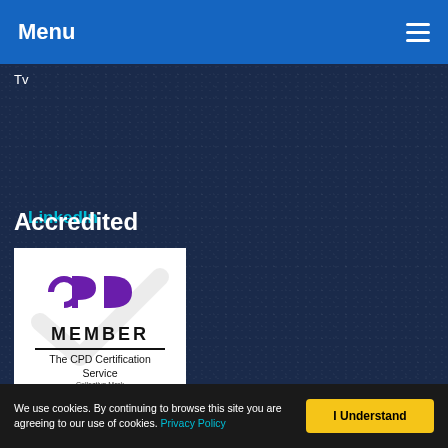Menu
Tw
LinkedIn
RSS
Accredited
[Figure (logo): CPD Member logo - The CPD Certification Service, Collective Mark. White background with purple CPD letters and checkmark watermark.]
Search
We use cookies. By continuing to browse this site you are agreeing to our use of cookies. Privacy Policy   I Understand